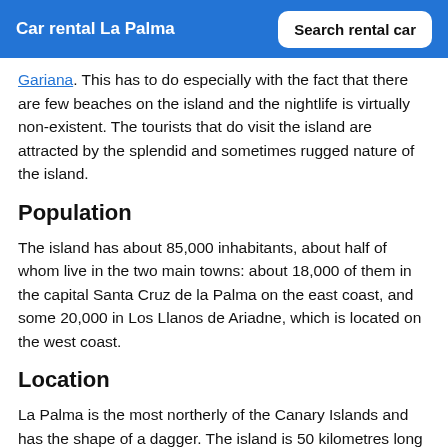Car rental La Palma | Search rental car
Gariana. This has to do especially with the fact that there are few beaches on the island and the nightlife is virtually non-existent. The tourists that do visit the island are attracted by the splendid and sometimes rugged nature of the island.
Population
The island has about 85,000 inhabitants, about half of whom live in the two main towns: about 18,000 of them in the capital Santa Cruz de la Palma on the east coast, and some 20,000 in Los Llanos de Ariadne, which is located on the west coast.
Location
La Palma is the most northerly of the Canary Islands and has the shape of a dagger. The island is 50 kilometres long and at the most 25 kilometres wide (the north). The capital Santa Cruz is situated on a bay on the east coast and it is built on the slopes of a volcanic crater.